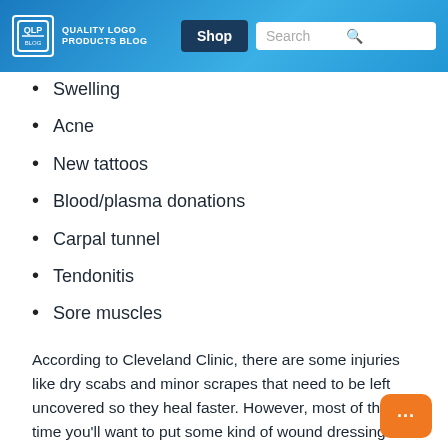Quality Logo Products Blog | Shop | Search
Swelling
Acne
New tattoos
Blood/plasma donations
Carpal tunnel
Tendonitis
Sore muscles
According to Cleveland Clinic, there are some injuries like dry scabs and minor scrapes that need to be left uncovered so they heal faster. However, most of the time you'll want to put some kind of wound dressing on an injury.